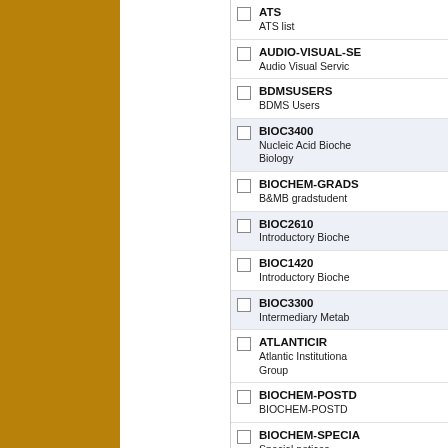ATS
ATS list
AUDIO-VISUAL-SE
Audio Visual Servic
BDMSUSERS
BDMS Users
BIOC3400
Nucleic Acid Bioche
Biology
BIOCHEM-GRADS
B&MB gradstudent
BIOC2610
Introductory Bioche
BIOC1420
Introductory Bioche
BIOC3300
Intermediary Metab
ATLANTICIR
Atlantic Institutiona
Group
BIOCHEM-POSTD
BIOCHEM-POSTD
BIOCHEM-SPECIA
Special notices